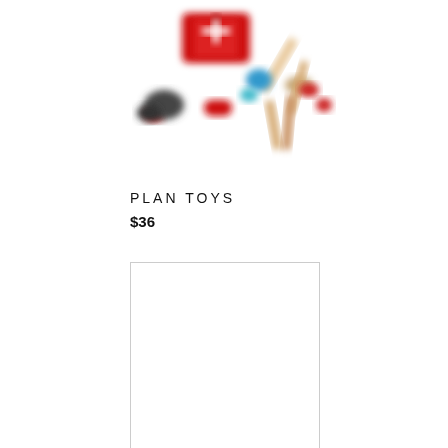[Figure (photo): Blurred product photo of a Plan Toys doctor/medical kit set with red case, wooden tools, and colorful medical accessories on white background]
PLAN TOYS
$36
[Figure (photo): White empty product image placeholder with light gray border]